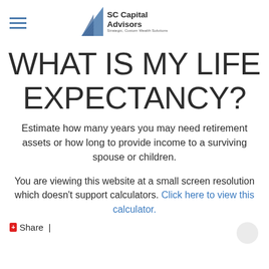SC Capital Advisors — Strategic, Custom Wealth Solutions
WHAT IS MY LIFE EXPECTANCY?
Estimate how many years you may need retirement assets or how long to provide income to a surviving spouse or children.
You are viewing this website at a small screen resolution which doesn't support calculators. Click here to view this calculator.
Share |